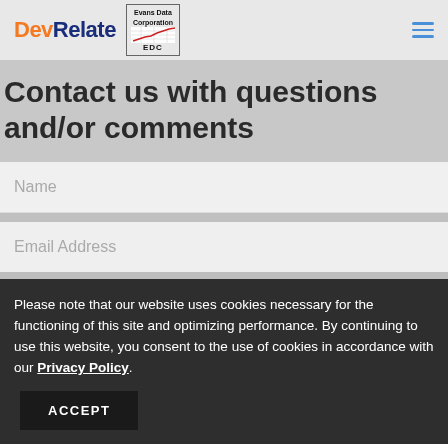DevRelate | Evans Data Corporation EDC
Contact us with questions and/or comments
Name
Email Address
Please note that our website uses cookies necessary for the functioning of this site and optimizing performance. By continuing to use this website, you consent to the use of cookies in accordance with our Privacy Policy.
ACCEPT